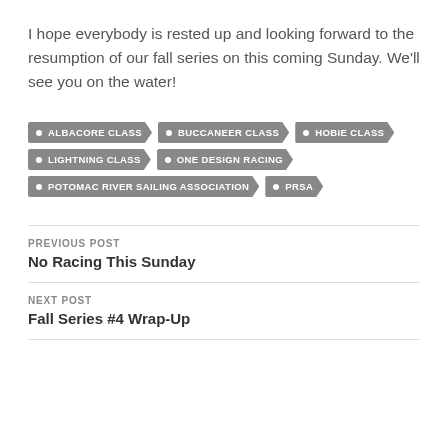I hope everybody is rested up and looking forward to the resumption of our fall series on this coming Sunday.  We'll see you on the water!
ALBACORE CLASS
BUCCANEER CLASS
HOBIE CLASS
LIGHTNING CLASS
ONE DESIGN RACING
POTOMAC RIVER SAILING ASSOCIATION
PRSA
PREVIOUS POST
No Racing This Sunday
NEXT POST
Fall Series #4 Wrap-Up